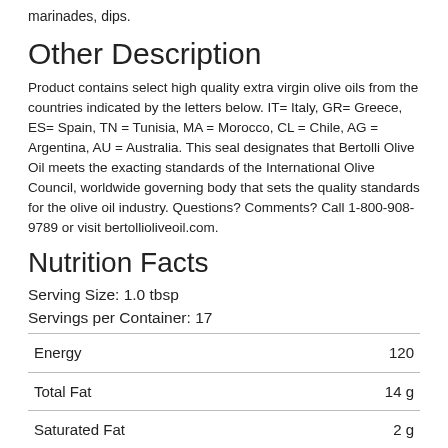marinades, dips.
Other Description
Product contains select high quality extra virgin olive oils from the countries indicated by the letters below. IT= Italy, GR= Greece, ES= Spain, TN = Tunisia, MA = Morocco, CL = Chile, AG = Argentina, AU = Australia. This seal designates that Bertolli Olive Oil meets the exacting standards of the International Olive Council, worldwide governing body that sets the quality standards for the olive oil industry. Questions? Comments? Call 1-800-908-9789 or visit bertollioliveoil.com.
Nutrition Facts
Serving Size: 1.0 tbsp
Servings per Container: 17
| Nutrient | Amount |
| --- | --- |
| Energy | 120 |
| Total Fat | 14 g |
| Saturated Fat | 2 g |